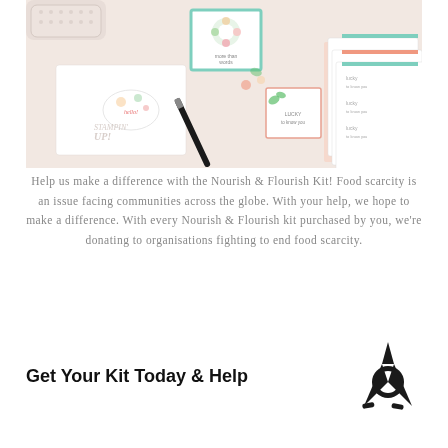[Figure (photo): Stampin' Up! craft kit photo showing handmade cards with floral designs, notebooks, envelopes, a pen, and colorful paper items arranged on a light pink/beige surface]
Help us make a difference with the Nourish & Flourish Kit! Food scarcity is an issue facing communities across the globe. With your help, we hope to make a difference. With every Nourish & Flourish kit purchased by you, we're donating to organisations fighting to end food scarcity.
Get Your Kit Today & Help
[Figure (logo): Stampin' Up! arrow/rocket logo in black]